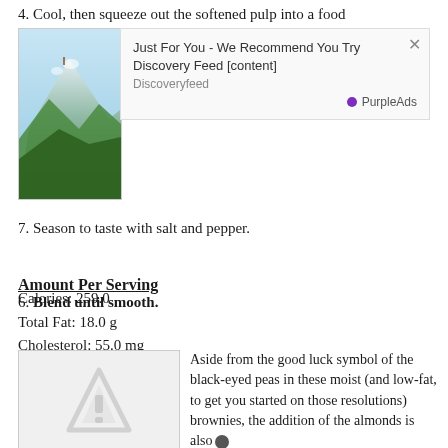4. Cool, then squeeze out the softened pulp into a food
[Figure (photo): Mountain landscape with green hills and blue sky, with a small animal or figure visible]
[Figure (screenshot): Ad overlay: Just For You - We Recommend You Try Discovery Feed [content] from Discoveryfeed, branded by PurpleAds]
6. Blend until smooth.
7. Season to taste with salt and pepper.
Amount Per Serving
Calories: 259.0
Total Fat: 18.0 g
Cholesterol: 55.0 mg
Sodium: 152.0 mg
Total Carbs: 19.3 g
Dietary Fiber: 4.1 g
Protein: 6.5 g
[Figure (illustration): Gray triangle warning/placeholder icon]
Aside from the good luck symbol of the black-eyed peas in these moist (and low-fat, to get you started on those resolutions) brownies, the addition of the almonds is also